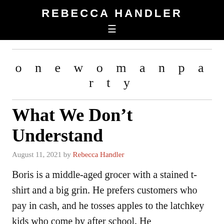REBECCA HANDLER
onewomanparty
What We Don’t Understand
August 11, 2021 by Rebecca Handler
Boris is a middle-aged grocer with a stained t-shirt and a big grin. He prefers customers who pay in cash, and he tosses apples to the latchkey kids who come by after school. He